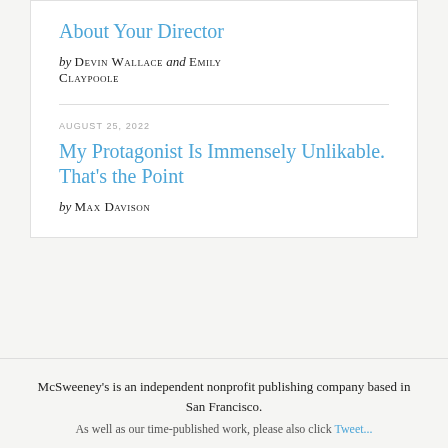About Your Director
by DEVIN WALLACE and EMILY CLAYPOOLE
AUGUST 25, 2022
My Protagonist Is Immensely Unlikable. That's the Point
by MAX DAVISON
McSweeney's is an independent nonprofit publishing company based in San Francisco.
As well as our time-published work, please also click Tweet...